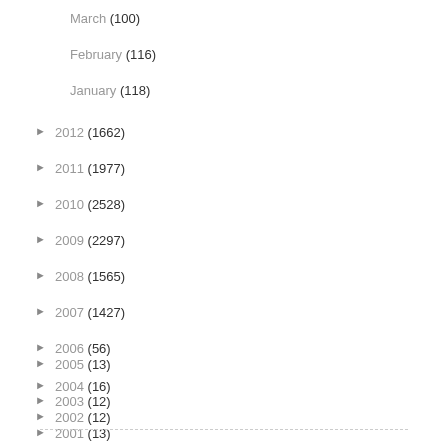March (100)
February (116)
January (118)
► 2012 (1662)
► 2011 (1977)
► 2010 (2528)
► 2009 (2297)
► 2008 (1565)
► 2007 (1427)
► 2006 (56)
► 2005 (13)
► 2004 (16)
► 2003 (12)
► 2002 (12)
► 2001 (13)